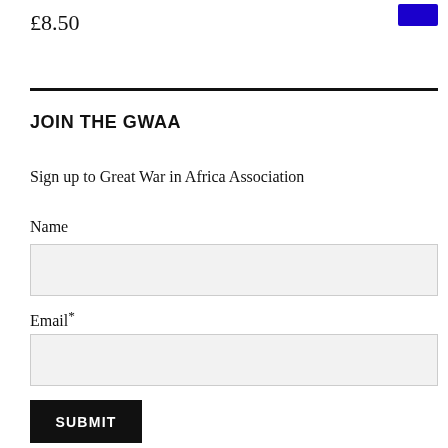£8.50
JOIN THE GWAA
Sign up to Great War in Africa Association
Name
Email*
SUBMIT